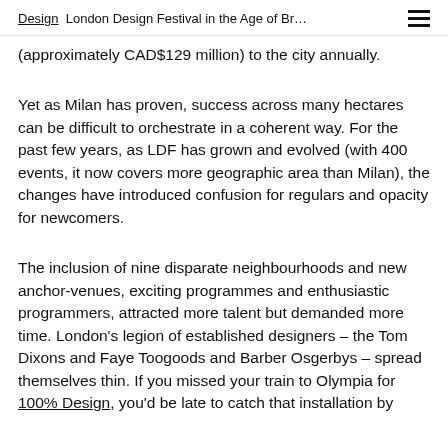Design  London Design Festival in the Age of Br…
(approximately CAD$129 million) to the city annually.
Yet as Milan has proven, success across many hectares can be difficult to orchestrate in a coherent way. For the past few years, as LDF has grown and evolved (with 400 events, it now covers more geographic area than Milan), the changes have introduced confusion for regulars and opacity for newcomers.
The inclusion of nine disparate neighbourhoods and new anchor-venues, exciting programmes and enthusiastic programmers, attracted more talent but demanded more time. London's legion of established designers – the Tom Dixons and Faye Toogoods and Barber Osgerbys – spread themselves thin. If you missed your train to Olympia for 100% Design, you'd be late to catch that installation by